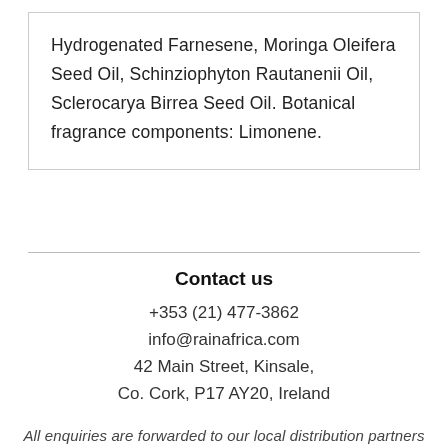Hydrogenated Farnesene, Moringa Oleifera Seed Oil, Schinziophyton Rautanenii Oil, Sclerocarya Birrea Seed Oil. Botanical fragrance components: Limonene.
Contact us
+353 (21) 477-3862
info@rainafrica.com
42 Main Street, Kinsale,
Co. Cork, P17 AY20, Ireland
All enquiries are forwarded to our local distribution partners